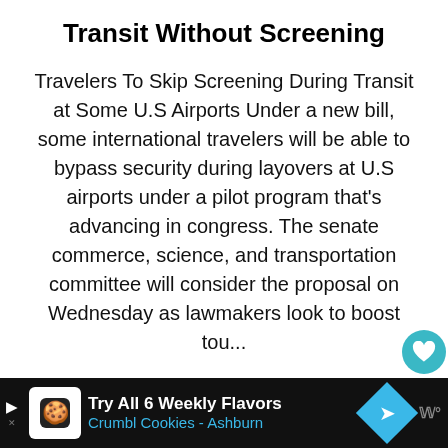Transit Without Screening
Travelers To Skip Screening During Transit at Some U.S Airports Under a new bill, some international travelers will be able to bypass security during layovers at U.S airports under a pilot program that’s advancing in congress. The senate commerce, science, and transportation committee will consider the proposal on Wednesday as lawmakers look to boost tou...
...
[Figure (other): READ MORE button (teal/cyan colored)]
[Figure (other): What's Next panel with Curacao Reopening T... thumbnail]
[Figure (other): Advertisement bar: Try All 6 Weekly Flavors Crumbl Cookies - Ashburn]